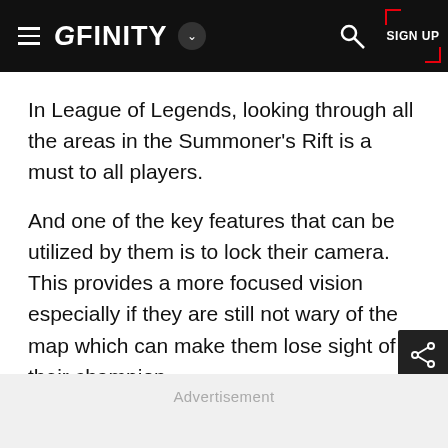GFINITY
In League of Legends, looking through all the areas in the Summoner’s Rift is a must to all players.
And one of the key features that can be utilized by them is to lock their camera. This provides a more focused vision especially if they are still not wary of the map which can make them lose sight of their champion.
Advertisement